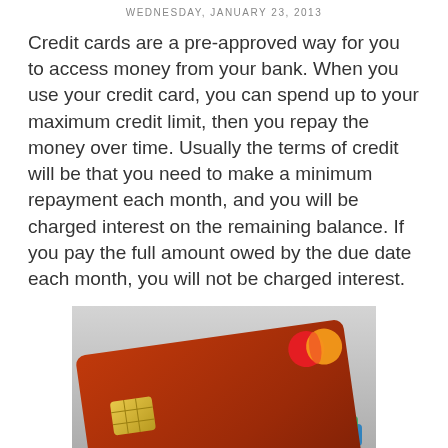WEDNESDAY, JANUARY 23, 2013
Credit cards are a pre-approved way for you to access money from your bank. When you use your credit card, you can spend up to your maximum credit limit, then you repay the money over time. Usually the terms of credit will be that you need to make a minimum repayment each month, and you will be charged interest on the remaining balance. If you pay the full amount owed by the due date each month, you will not be charged interest.
[Figure (photo): Stack of credit cards, with a red/brown Mastercard on top showing a chip and partial card number 5222 2383 12/20, with more colorful cards visible underneath.]